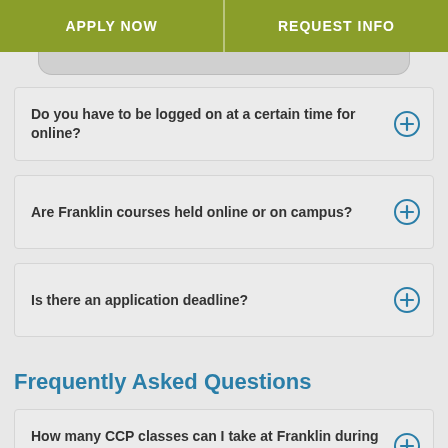APPLY NOW | REQUEST INFO
Do you have to be logged on at a certain time for online?
Are Franklin courses held online or on campus?
Is there an application deadline?
Frequently Asked Questions
How many CCP classes can I take at Franklin during a trimester?
How will I work my Franklin University classes